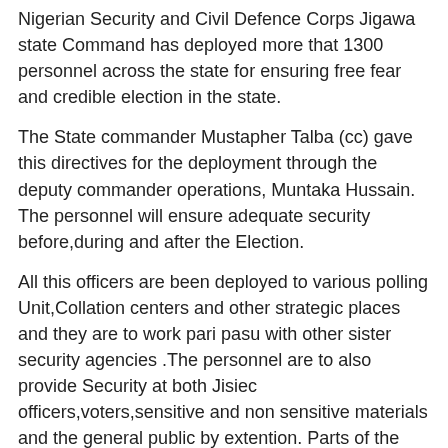Nigerian Security and Civil Defence Corps Jigawa state Command has deployed more that 1300 personnel across the state for ensuring free fear and credible election in the state.
The State commander Mustapher Talba (cc) gave this directives for the deployment through the deputy commander operations, Muntaka Hussain.
The personnel will ensure adequate security before,during and after the Election.
All this officers are been deployed to various polling Unit,Collation centers and other strategic places and they are to work pari pasu with other sister security agencies .The personnel are to also provide Security at both Jisiec officers,voters,sensitive and non sensitive materials and the general public by extention. Parts of the strategies deployed include 24hrs surveillance through mounting mobile and static patrol teams at flash locations.
Rapid Response Team are also stationed at State and Area